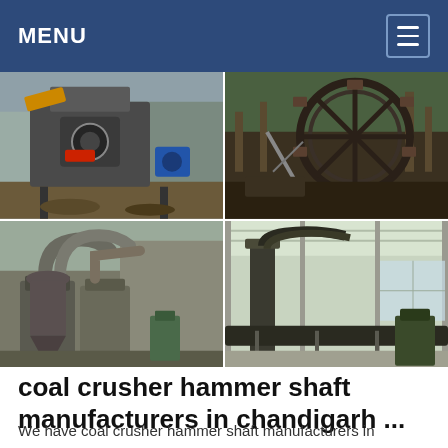MENU
[Figure (photo): Four-panel photo grid showing industrial coal crushing and milling equipment: top-left shows a hammer crusher with heavy machinery outdoors, top-right shows a large wheel excavator/bucket in a forested area, bottom-left shows industrial milling machines with ductwork in a facility, bottom-right shows a long conveyor belt system inside a warehouse.]
coal crusher hammer shaft manufacturers in chandigarh ...
We have coal crusher hammer shaft manufacturers in chandigarh, ...